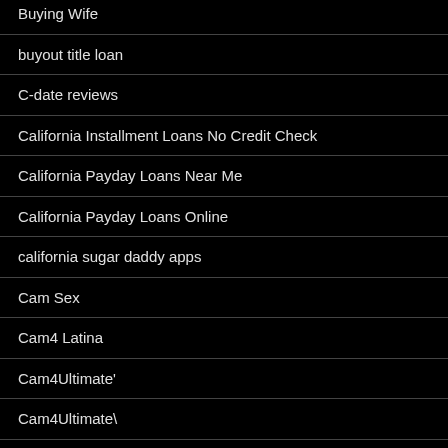Buying Wife
buyout title loan
C-date reviews
California Installment Loans No Credit Check
California Payday Loans Near Me
California Payday Loans Online
california sugar daddy apps
Cam Sex
Cam4 Latina
Cam4Ultimate'
Cam4Ultimate\
Camcrawler Live Sex Cam
Camcrawler Videos